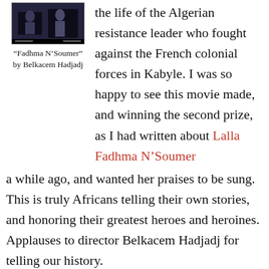[Figure (photo): Movie poster/still for 'Fadhma N'Soumer' — dark background with figures]
“Fadhma N’Soumer” by Belkacem Hadjadj
the life of the Algerian resistance leader who fought against the French colonial forces in Kabyle. I was so happy to see this movie made, and winning the second prize, as I had written about Lalla Fadhma N’Soumer a while ago, and wanted her praises to be sung. This is truly Africans telling their own stories, and honoring their greatest heroes and heroines. Applauses to director Belkacem Hadjadj for telling our history.
The Bronze Stallion was awarded to Burkinabé director Sekou Traoré “L’Oeil du Cyclone” (The Eye of
[Figure (photo): Movie poster for 'L'Oeil du Cyclone' — dark toned poster with text overlay]